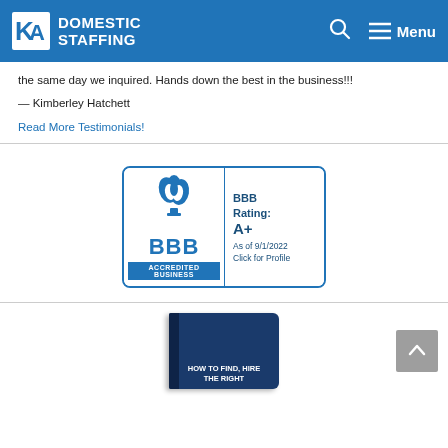KA Domestic Staffing — Menu
the same day we inquired. Hands down the best in the business!!!
— Kimberley Hatchett
Read More Testimonials!
[Figure (logo): BBB Accredited Business badge with A+ rating as of 9/1/2022, Click for Profile]
[Figure (photo): Book cover: How to Find, Hire [the Right...]]